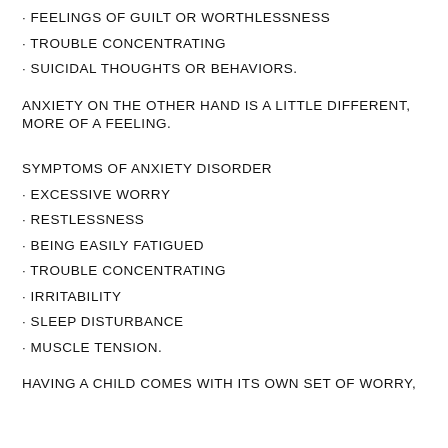· FEELINGS OF GUILT OR WORTHLESSNESS
· TROUBLE CONCENTRATING
· SUICIDAL THOUGHTS OR BEHAVIORS.
ANXIETY ON THE OTHER HAND IS A LITTLE DIFFERENT, MORE OF A FEELING.
SYMPTOMS OF ANXIETY DISORDER
· EXCESSIVE WORRY
· RESTLESSNESS
· BEING EASILY FATIGUED
· TROUBLE CONCENTRATING
· IRRITABILITY
· SLEEP DISTURBANCE
· MUSCLE TENSION.
HAVING A CHILD COMES WITH ITS OWN SET OF WORRY,